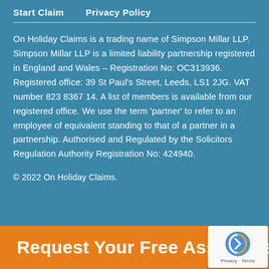Start Claim   Privacy Policy
On Holiday Claims is a trading name of Simpson Millar LLP. Simpson Millar LLP is a limited liability partnership registered in England and Wales – Registration No: OC313936. Registered office: 39 St Paul's Street, Leeds, LS1 2JG. VAT number 823 8367 14. A list of members is available from our registered office. We use the term 'partner' to refer to an employee of equivalent standing to that of a partner in a partnership. Authorised and Regulated by the Solicitors Regulation Authority Registration No: 424940.
© 2022 On Holiday Claims.
Request Your Free Assessment